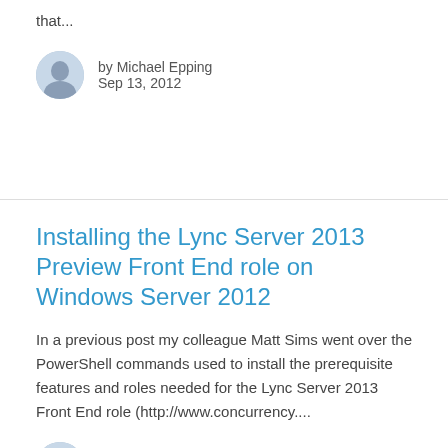that...
by Michael Epping
Sep 13, 2012
Installing the Lync Server 2013 Preview Front End role on Windows Server 2012
In a previous post my colleague Matt Sims went over the PowerShell commands used to install the prerequisite features and roles needed for the Lync Server 2013 Front End role (http://www.concurrency....
by Michael Epping
Sep 13, 2012